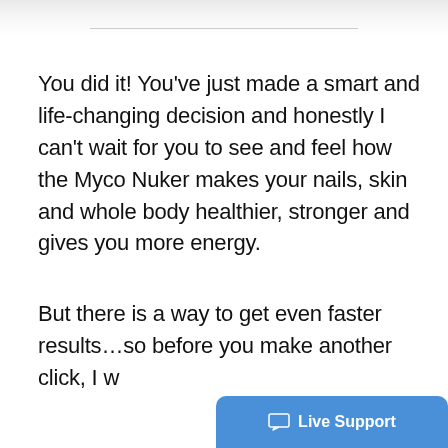You did it! You've just made a smart and life-changing decision and honestly I can't wait for you to see and feel how the Myco Nuker makes your nails, skin and whole body healthier, stronger and gives you more energy.
But there is a way to get even faster results…so before you make another click, I w
[Figure (other): Live Support chat button widget in blue, bottom right corner]